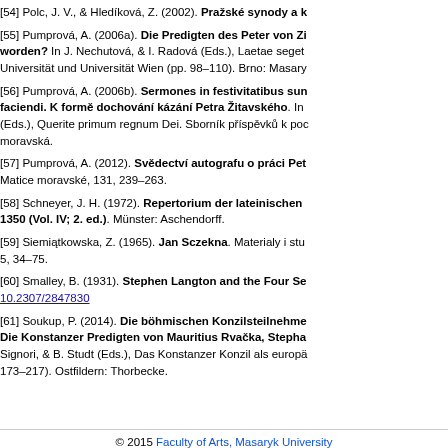[54] Polc, J. V., & Hledíková, Z. (2002). Pražské synody a k...
[55] Pumprová, A. (2006a). Die Predigten des Peter von Zi... worden? In J. Nechutová, & I. Radová (Eds.), Laetae seget... Universität und Universität Wien (pp. 98–110). Brno: Masary...
[56] Pumprová, A. (2006b). Sermones in festivitatibus sun... faciendi. K formě dochování kázání Petra Žitavského. In... (Eds.), Querite primum regnum Dei. Sborník příspěvků k poc... moravská.
[57] Pumprová, A. (2012). Svědectví autografu o práci Pet... Matice moravské, 131, 239–263.
[58] Schneyer, J. H. (1972). Repertorium der lateinischen... 1350 (Vol. IV; 2. ed.). Münster: Aschendorff.
[59] Siemiątkowska, Z. (1965). Jan Sczekna. Materialy i stu... 5, 34–75.
[60] Smalley, B. (1931). Stephen Langton and the Four Se... 10.2307/2847830
[61] Soukup, P. (2014). Die böhmischen Konzilsteilnehme... Die Konstanzer Predigten von Mauritius Rvačka, Stepha... Signori, & B. Studt (Eds.), Das Konstanzer Konzil als europä... 173–217). Ostfildern: Thorbecke.
© 2015 Faculty of Arts, Masaryk University